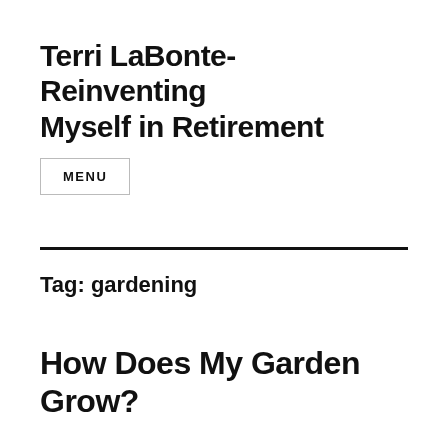Terri LaBonte- Reinventing Myself in Retirement
MENU
Tag: gardening
How Does My Garden Grow?